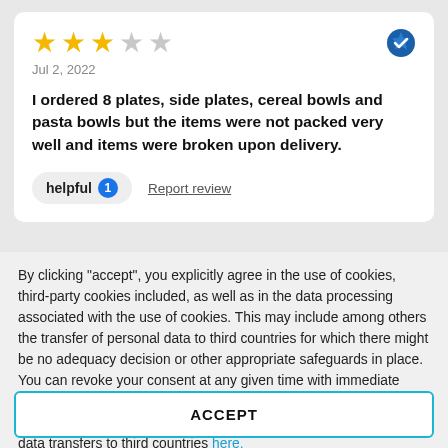[Figure (other): 3 out of 5 stars rating (3 filled yellow stars, 2 empty gray stars) with a blue verified badge checkmark icon]
Jul 2, 2022
I ordered 8 plates, side plates, cereal bowls and pasta bowls but the items were not packed very well and items were broken upon delivery.
helpful 1   Report review
By clicking "accept", you explicitly agree in the use of cookies, third-party cookies included, as well as in the data processing associated with the use of cookies. This may include among others the transfer of personal data to third countries for which there might be no adequacy decision or other appropriate safeguards in place. You can revoke your consent at any given time with immediate effect for the future. You can find further information on the data processing purposes, opt-out options, your rights, and the risks of data transfers to third countries here.
ACCEPT